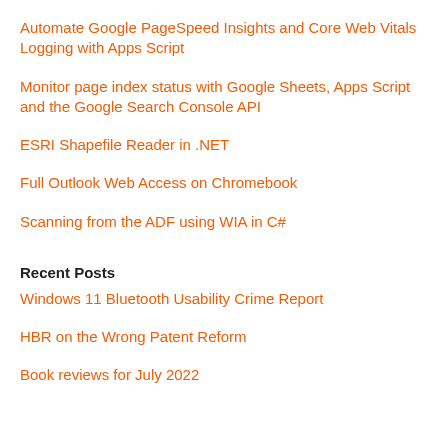Automate Google PageSpeed Insights and Core Web Vitals Logging with Apps Script
Monitor page index status with Google Sheets, Apps Script and the Google Search Console API
ESRI Shapefile Reader in .NET
Full Outlook Web Access on Chromebook
Scanning from the ADF using WIA in C#
Recent Posts
Windows 11 Bluetooth Usability Crime Report
HBR on the Wrong Patent Reform
Book reviews for July 2022